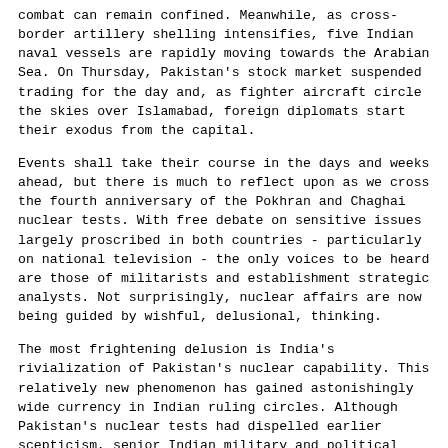combat can remain confined. Meanwhile, as cross-border artillery shelling intensifies, five Indian naval vessels are rapidly moving towards the Arabian Sea. On Thursday, Pakistan's stock market suspended trading for the day and, as fighter aircraft circle the skies over Islamabad, foreign diplomats start their exodus from the capital.
Events shall take their course in the days and weeks ahead, but there is much to reflect upon as we cross the fourth anniversary of the Pokhran and Chaghai nuclear tests. With free debate on sensitive issues largely proscribed in both countries - particularly on national television - the only voices to be heard are those of militarists and establishment strategic analysts. Not surprisingly, nuclear affairs are now being guided by wishful, delusional, thinking.
The most frightening delusion is India's rivialization of Pakistan's nuclear capability. This relatively new phenomenon has gained astonishingly wide currency in Indian ruling circles. Although Pakistan's nuclear tests had dispelled earlier scepticism, senior Indian military and political leaders continue to express doubts on the operational capability and usability of the Pakistani arsenal. Still more seriously, many Indians believe that, as a client state of the US, Pakistan's nuclear weapons are under the control of the US. The assumption is that, in case of extreme crisis, the US would either restrain their use by